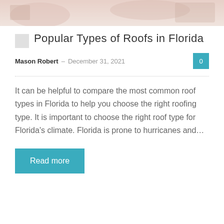[Figure (photo): Partial background image of roofing or Florida landscape at the top of the page]
Popular Types of Roofs in Florida
Mason Robert - December 31, 2021
It can be helpful to compare the most common roof types in Florida to help you choose the right roofing type. It is important to choose the right roof type for Florida's climate. Florida is prone to hurricanes and...
Read more